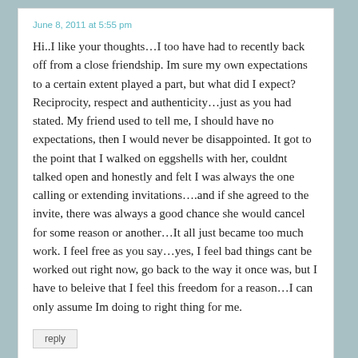June 8, 2011 at 5:55 pm
Hi..I like your thoughts…I too have had to recently back off from a close friendship. Im sure my own expectations to a certain extent played a part, but what did I expect? Reciprocity, respect and authenticity…just as you had stated. My friend used to tell me, I should have no expectations, then I would never be disappointed. It got to the point that I walked on eggshells with her, couldnt talked open and honestly and felt I was always the one calling or extending invitations….and if she agreed to the invite, there was always a good chance she would cancel for some reason or another…It all just became too much work. I feel free as you say…yes, I feel bad things cant be worked out right now, go back to the way it once was, but I have to beleive that I feel this freedom for a reason…I can only assume Im doing to right thing for me.
reply